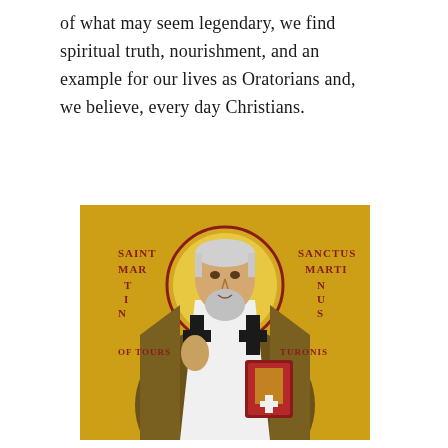of what may seem legendary, we find spiritual truth, nourishment, and an example for our lives as Oratorians and, we believe, every day Christians.
[Figure (illustration): Byzantine-style religious icon of Saint Martin of Tours (Sanctus Martinus Turonensis), depicted as a bishop with white and black cross-patterned vestments, holding a Gospel book and raising his right hand in blessing, with a golden halo against a gold background. Text on the icon reads: SAINT MARTIN OF TOURS on the left, SANCTUS MARTINUS TURONИС on the right.]